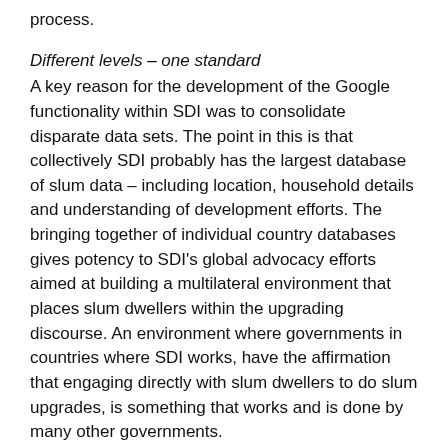process.
Different levels – one standard
A key reason for the development of the Google functionality within SDI was to consolidate disparate data sets. The point in this is that collectively SDI probably has the largest database of slum data – including location, household details and understanding of development efforts. The bringing together of individual country databases gives potency to SDI's global advocacy efforts aimed at building a multilateral environment that places slum dwellers within the upgrading discourse. An environment where governments in countries where SDI works, have the affirmation that engaging directly with slum dwellers to do slum upgrades, is something that works and is done by many other governments.
During the development of the platform, the disparities in data collected was appreciated and the platform built to be the lowest common denominator between the data sets.